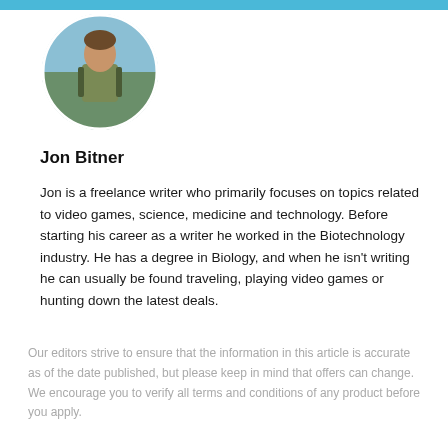[Figure (photo): Circular profile photo of Jon Bitner, a man wearing a t-shirt with a backpack outdoors in a nature setting]
Jon Bitner
Jon is a freelance writer who primarily focuses on topics related to video games, science, medicine and technology. Before starting his career as a writer he worked in the Biotechnology industry. He has a degree in Biology, and when he isn't writing he can usually be found traveling, playing video games or hunting down the latest deals.
Our editors strive to ensure that the information in this article is accurate as of the date published, but please keep in mind that offers can change. We encourage you to verify all terms and conditions of any product before you apply.